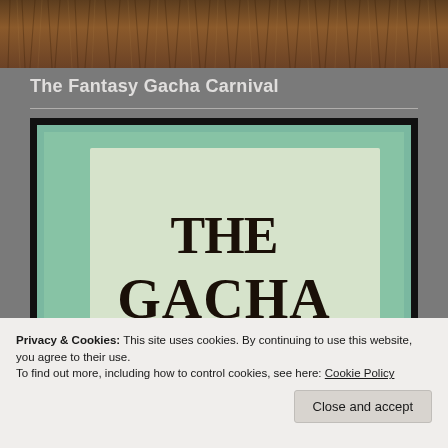[Figure (photo): Close-up of brown fur or hair texture, cropped at top of page]
The Fantasy Gacha Carnival
[Figure (photo): Book cover showing 'THE GACHA' text in large serif font on a light textured background with colorful elements, framed with thick black border]
Privacy & Cookies: This site uses cookies. By continuing to use this website, you agree to their use.
To find out more, including how to control cookies, see here: Cookie Policy
Close and accept